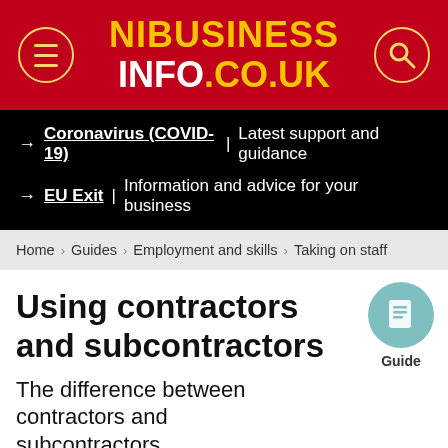[Figure (logo): NIBusinessInfo.co.uk logo on red background with menu and search icons]
→ Coronavirus (COVID-19) | Latest support and guidance
→ EU Exit | Information and advice for your business
Home > Guides > Employment and skills > Taking on staff
Using contractors and subcontractors
The difference between contractors and subcontractors
We use cookies to give you the best online experience. These cookies allow the